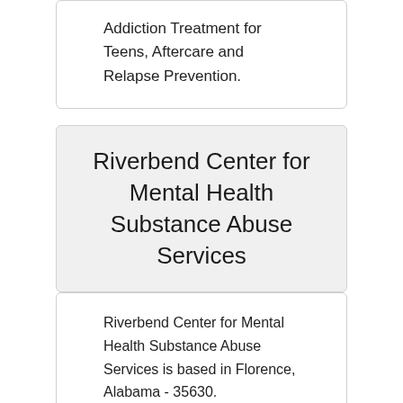Addiction Treatment for Teens, Aftercare and Relapse Prevention.
Riverbend Center for Mental Health Substance Abuse Services
Riverbend Center for Mental Health Substance Abuse Services is based in Florence, Alabama - 35630.
Riverbend Center for Mental Health Substance Abuse Services allows Self-Pay, Medicaid Coverage, Medicare for Drug Rehab for the following treatment